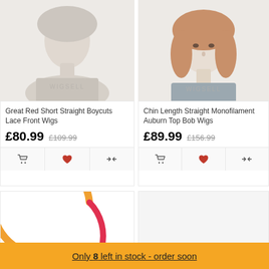[Figure (photo): Product photo of a Great Red Short Straight Boycuts Lace Front Wig on a mannequin head with WIGSELL watermark]
Great Red Short Straight Boycuts Lace Front Wigs
£80.99  £109.99
[Figure (photo): Product photo of a Chin Length Straight Monofilament Auburn Top Bob Wig on a model with WIGSELL watermark]
Chin Length Straight Monofilament Auburn Top Bob Wigs
£89.99  £156.99
[Figure (illustration): Partial loading spinner or circular progress indicator in orange and red/pink colors, partially visible]
[Figure (photo): Product photo area, mostly white/empty]
Only 8 left in stock - order soon